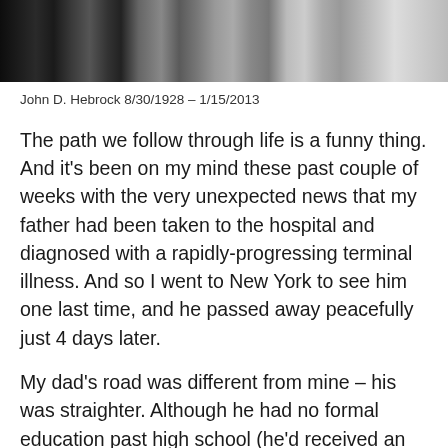[Figure (photo): Black and white photograph strip showing a person and wooden structures]
John D. Hebrock 8/30/1928 – 1/15/2013
The path we follow through life is a funny thing. And it's been on my mind these past couple of weeks with the very unexpected news that my father had been taken to the hospital and diagnosed with a rapidly-progressing terminal illness. And so I went to New York to see him one last time, and he passed away peacefully just 4 days later.
My dad's road was different from mine – his was straighter. Although he had no formal education past high school (he'd received an appointment to the United States Military Academy at West Point, but his family insisted he go to work instead), he had a voracious appetite for learning, far more common sense than most, and a genuine talent for mechanics, electronics, and photography. And so he spent his entire career working